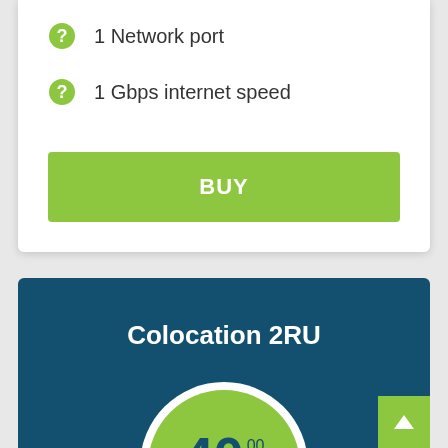1 Network port
1 Gbps internet speed
BUY
Colocation 2RU
40.00 $ / month